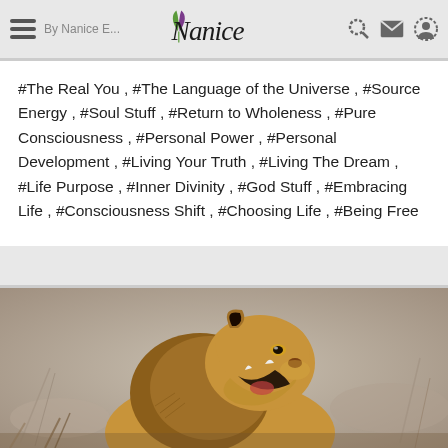By Nanice E... Nanice [logo]
#The Real You , #The Language of the Universe , #Source Energy , #Soul Stuff , #Return to Wholeness , #Pure Consciousness , #Personal Power , #Personal Development , #Living Your Truth , #Living The Dream , #Life Purpose , #Inner Divinity , #God Stuff , #Embracing Life , #Consciousness Shift , #Choosing Life , #Being Free
[Figure (photo): A lioness with mouth wide open roaring, photographed from the side against a blurred natural background of dry grass and muted tones.]